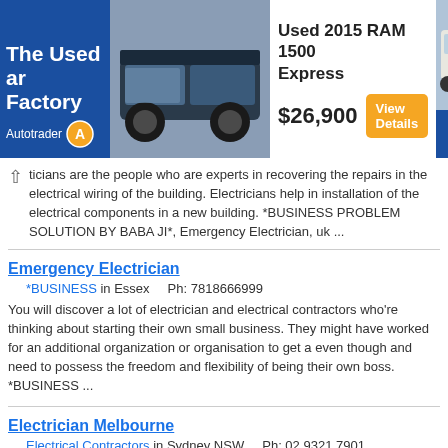[Figure (screenshot): Autotrader advertisement banner for Used 2015 RAM 1500 Express priced at $26,900 with View Details button]
...ticians are the people who are experts in recovering the repairs in the electrical wiring of the building. Electricians help in installation of the electrical components in a new building. *BUSINESS PROBLEM SOLUTION BY BABA JI*, Emergency Electrician, uk ...
Emergency Electrician
*BUSINESS in Essex    Ph: 7818666999
You will discover a lot of electrician and electrical contractors who're thinking about starting their own small business. They might have worked for an additional organization or organisation to get a even though and need to possess the freedom and flexibility of being their own boss. *BUSINESS ...
Electrician Melbourne
Electrical Contractors in Sydney NSW    Ph: 02 9321 7901
service and get 3-5 electrical quotes within 1 hour. You simply compare and hire the best electrician Melbourne.. Electrical Contractors, Electrician Melbourne, Sydney, NSW ...
Trend Electrical Services
Electrician in St Ives    Ph: 0422636180